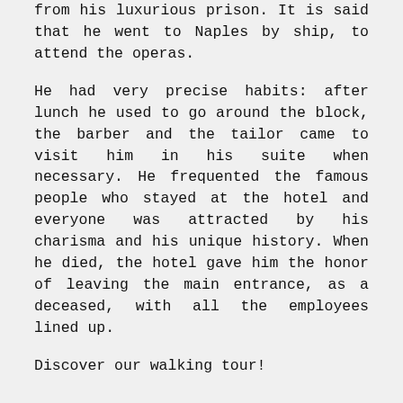from his luxurious prison. It is said that he went to Naples by ship, to attend the operas.
He had very precise habits: after lunch he used to go around the block, the barber and the tailor came to visit him in his suite when necessary. He frequented the famous people who stayed at the hotel and everyone was attracted by his charisma and his unique history. When he died, the hotel gave him the honor of leaving the main entrance, as a deceased, with all the employees lined up.
Discover our walking tour!